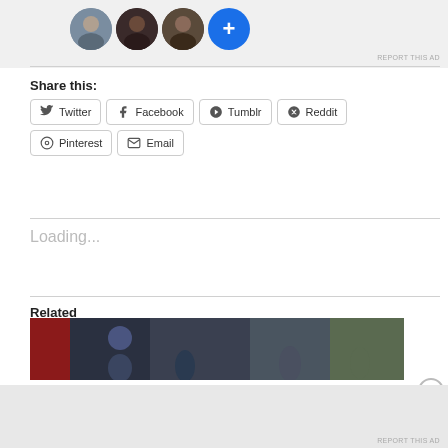[Figure (illustration): Row of profile avatar circles (3 person photos and a blue plus button) on a grey background]
REPORT THIS AD
Share this:
Twitter
Facebook
Tumblr
Reddit
Pinterest
Email
Loading...
Related
[Figure (photo): Related article image showing people outdoors]
Advertisements
[Figure (illustration): DuckDuckGo advertisement banner: Search, browse, and email with more privacy. All in One Free App. DuckDuckGo logo on dark background.]
REPORT THIS AD